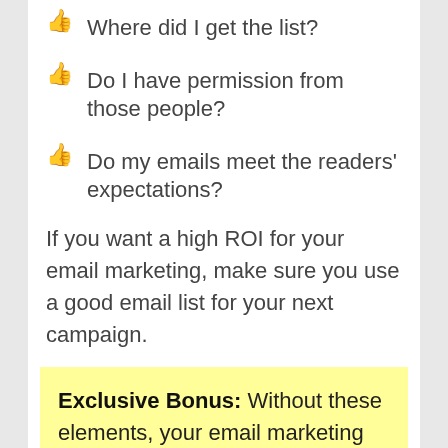Where did I get the list?
Do I have permission from those people?
Do my emails meet the readers' expectations?
If you want a high ROI for your email marketing, make sure you use a good email list for your next campaign.
Exclusive Bonus: Without these elements, your email marketing will not work. You will forever deal with being blacklisted, unsubscribed, opted out, and banished to the spam folder. These elements must be carefully considered, planned, and executed. With them, your email marketing will not only work, it will have superpowers. Download 'Email Marketing